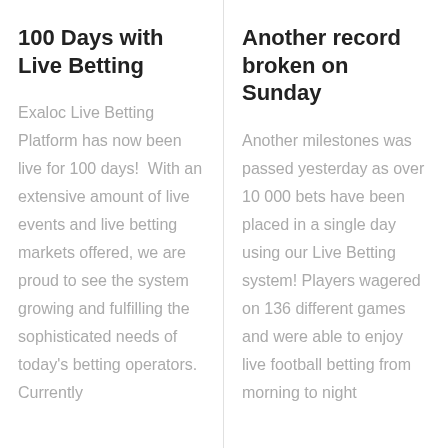100 Days with Live Betting
Exaloc Live Betting Platform has now been live for 100 days!  With an extensive amount of live events and live betting markets offered, we are proud to see the system growing and fulfilling the sophisticated needs of today's betting operators. Currently
Another record broken on Sunday
Another milestones was passed yesterday as over 10 000 bets have been placed in a single day using our Live Betting system! Players wagered on 136 different games and were able to enjoy live football betting from morning to night